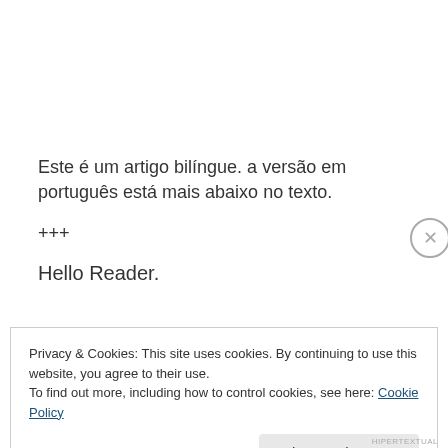Este é um artigo bilíngue. a versão em português está mais abaixo no texto.
+++
Hello Reader.
Privacy & Cookies: This site uses cookies. By continuing to use this website, you agree to their use.
To find out more, including how to control cookies, see here: Cookie Policy
Close and accept
HIPERTEXTUAL